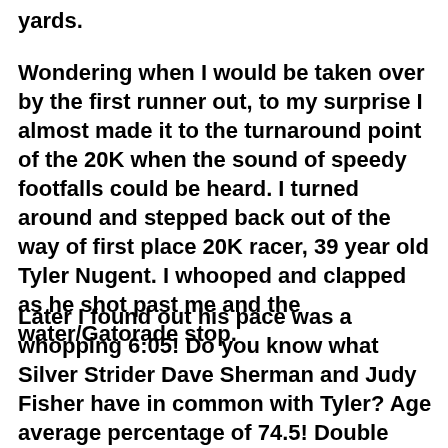yards.
Wondering when I would be taken over by the first runner out, to my surprise I almost made it to the turnaround point of the 20K when the sound of speedy footfalls could be heard. I turned around and stepped back out of the way of first place 20K racer, 39 year old Tyler Nugent. I whooped and clapped as he shot past me and the water/Gatorade stop.
Later I found out his pace was a whopping 6:05! Do you know what Silver Strider Dave Sherman and Judy Fisher have in common with Tyler? Age average percentage of 74.5! Double wow!